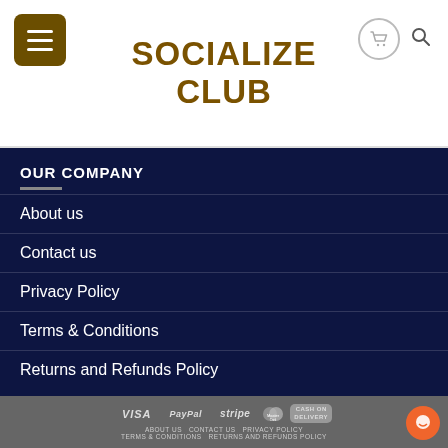SOCIALIZE CLUB
OUR COMPANY
About us
Contact us
Privacy Policy
Terms & Conditions
Returns and Refunds Policy
VISA  PayPal  stripe  MasterCard  CASH ON DELIVERY  ABOUT US  CONTACT US  PRIVACY POLICY  TERMS & CONDITIONS  RETURNS AND REFUNDS POLICY